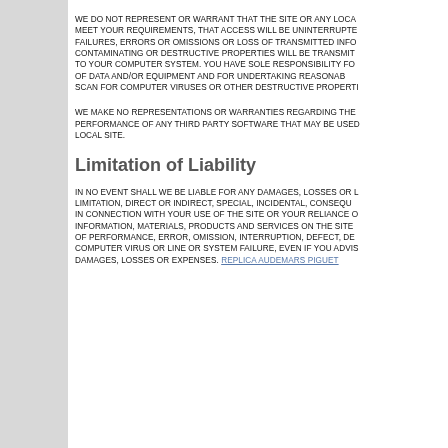WE DO NOT REPRESENT OR WARRANT THAT THE SITE OR ANY LOCAL SITE WILL MEET YOUR REQUIREMENTS, THAT ACCESS WILL BE UNINTERRUPTED, THAT THERE WILL BE NO FAILURES, ERRORS OR OMISSIONS OR LOSS OF TRANSMITTED INFORMATION, THAT NO CONTAMINATING OR DESTRUCTIVE PROPERTIES WILL BE TRANSMITTED OR THAT THERE WILL BE NO DAMAGE TO YOUR COMPUTER SYSTEM. YOU HAVE SOLE RESPONSIBILITY FOR ADEQUATE PROTECTION OF DATA AND/OR EQUIPMENT AND FOR UNDERTAKING REASONABLE PRECAUTIONS TO SCAN FOR COMPUTER VIRUSES OR OTHER DESTRUCTIVE PROPERTIES.
WE MAKE NO REPRESENTATIONS OR WARRANTIES REGARDING THE ACCURACY OR PERFORMANCE OF ANY THIRD PARTY SOFTWARE THAT MAY BE USED IN CONNECTION WITH THE LOCAL SITE.
Limitation of Liability
IN NO EVENT SHALL WE BE LIABLE FOR ANY DAMAGES, LOSSES OR LIABILITIES INCLUDING WITHOUT LIMITATION, DIRECT OR INDIRECT, SPECIAL, INCIDENTAL, CONSEQUENTIAL OR PUNITIVE DAMAGES, IN CONNECTION WITH YOUR USE OF THE SITE OR YOUR RELIANCE ON OR USE OF THE INFORMATION, MATERIALS, PRODUCTS AND SERVICES ON THE SITE OR THAT RESULT FROM MISTAKES, ERRORS OF PERFORMANCE, ERROR, OMISSION, INTERRUPTION, DEFECT, DELAY IN OPERATION OR TRANSMISSION, COMPUTER VIRUS OR LINE OR SYSTEM FAILURE, EVEN IF YOU ADVISE US OF THE POSSIBILITY OF SUCH DAMAGES, LOSSES OR EXPENSES. Replica Audemars Piguet